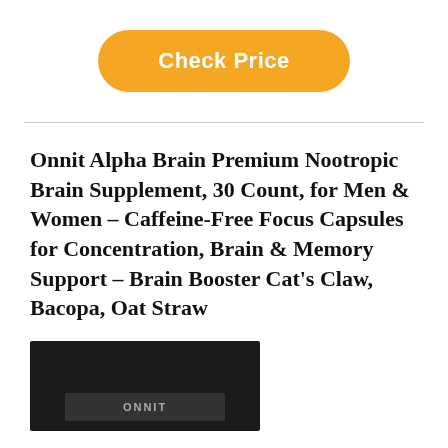[Figure (other): Orange rounded button with white bold text reading 'Check Price']
Onnit Alpha Brain Premium Nootropic Brain Supplement, 30 Count, for Men & Women – Caffeine-Free Focus Capsules for Concentration, Brain & Memory Support – Brain Booster Cat's Claw, Bacopa, Oat Straw
[Figure (photo): Partial product photo showing a dark/black box with the Onnit logo on it, cropped at the bottom of the page]